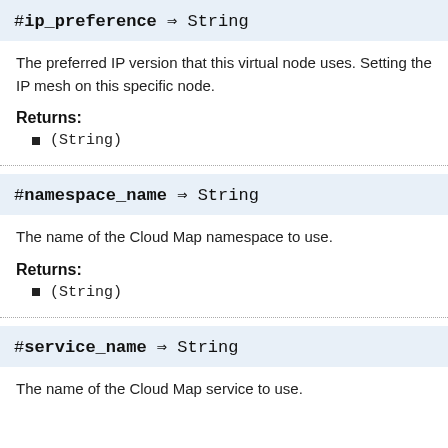#ip_preference ⇒ String
The preferred IP version that this virtual node uses. Setting the IP mesh on this specific node.
Returns:
(String)
#namespace_name ⇒ String
The name of the Cloud Map namespace to use.
Returns:
(String)
#service_name ⇒ String
The name of the Cloud Map service to use.